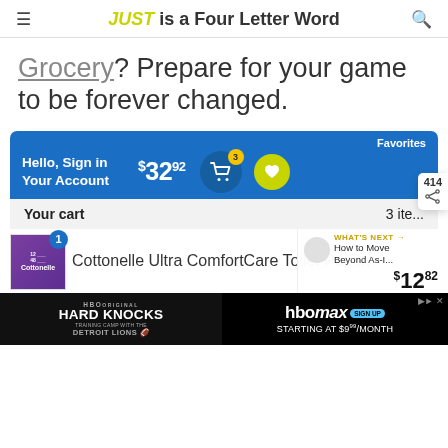JUST is a Four Letter Word
Grocery? Prepare for your game to be forever changed.
[Figure (screenshot): Walmart grocery app screenshot showing Favorites header, Hello Sign in Your Account, $32.92 cart total with 3 items, cart icon with badge showing 3, heart/favorites icon, Your cart section showing 3 items, and Cottonelle Ultra ComfortCare Toilet Paper priced at $12.82 with item number 1]
[Figure (screenshot): HBO advertisement banner showing 'HBO Original Hard Knocks Training Camp with the Detroit Lions' on the left and 'HBOmax Sign Up Starting at $9/month' on the right]